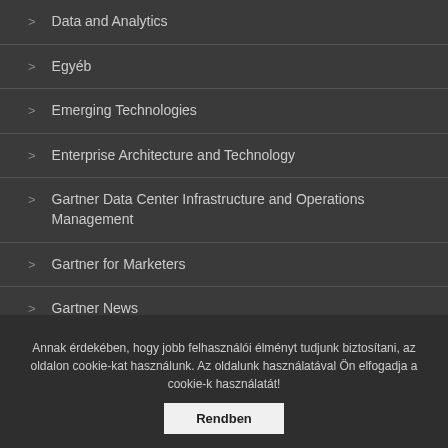Data and Analytics
Egyéb
Emerging Technologies
Enterprise Architecture and Technology
Gartner Data Center Infrastructure and Operations Management
Gartner for Marketers
Gartner News
Identity and Access Management
In Focus
IT Operations Strategies & Solutions Summit
Annak érdekében, hogy jobb felhasználói élményt tudjunk biztosítani, az oldalon cookie-kat használunk. Az oldalunk használatával Ön elfogadja a cookie-k használatát!
Rendben